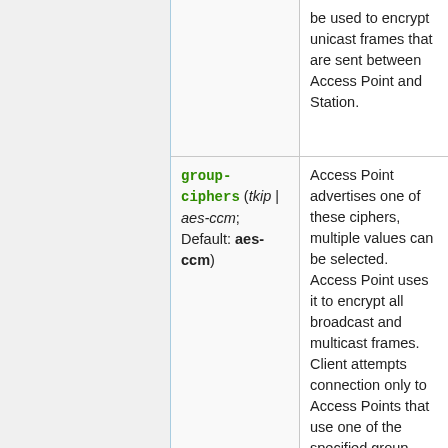| Parameter | Description |
| --- | --- |
|  | be used to encrypt unicast frames that are sent between Access Point and Station. |
| group-ciphers (tkip | aes-ccm; Default: aes-ccm) | Access Point advertises one of these ciphers, multiple values can be selected. Access Point uses it to encrypt all broadcast and multicast frames. Client attempts connection only to Access Points that use one of the specified group ciphers.
• tkip - Temporal Key... |